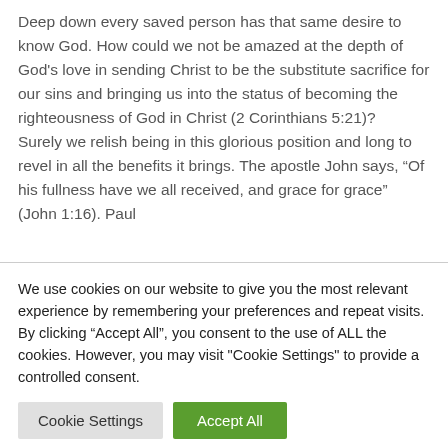Deep down every saved person has that same desire to know God. How could we not be amazed at the depth of God's love in sending Christ to be the substitute sacrifice for our sins and bringing us into the status of becoming the righteousness of God in Christ (2 Corinthians 5:21)? Surely we relish being in this glorious position and long to revel in all the benefits it brings. The apostle John says, “Of his fullness have we all received, and grace for grace” (John 1:16). Paul
We use cookies on our website to give you the most relevant experience by remembering your preferences and repeat visits. By clicking “Accept All”, you consent to the use of ALL the cookies. However, you may visit "Cookie Settings" to provide a controlled consent.